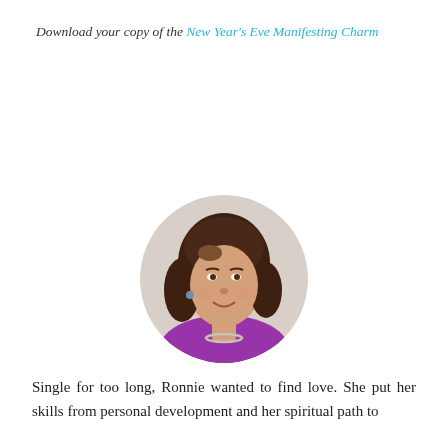Download your copy of the New Year's Eve Manifesting Charm
[Figure (photo): Circular portrait photo of a woman with shoulder-length brunette wavy hair, wearing a purple top and silver chain necklace, smiling, against a light background.]
Single for too long, Ronnie wanted to find love. She put her skills from personal development and her spiritual path to